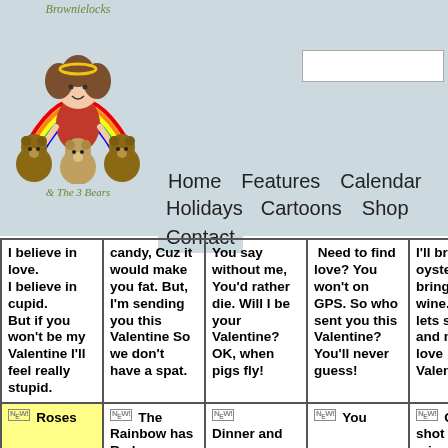Brownielocks & The 3 Bears
[Figure (illustration): Cartoon illustration of Brownielocks character with curly hair and three bears]
Home   Features   Calendar   Holidays   Cartoons   Shop   Contact
I believe in love. I believe in cupid. But if you won't be my Valentine I'll feel really stupid.
candy, Cuz it would make you fat. But, I'm sending you this Valentine So we don't have a spat.
You say without me, You'd rather die. Will I be your Valentine? OK, when pigs fly!
Need to find love? You won't on GPS. So who sent you this Valentine? You'll never guess!
I'll bring the oysters. You bring the wine. Then lets share and make a love Valentine.
NEW! Roses
NEW! The Rainbow has Red
NEW! Dinner and
NEW! You
NEW! Cupid shot and missed you